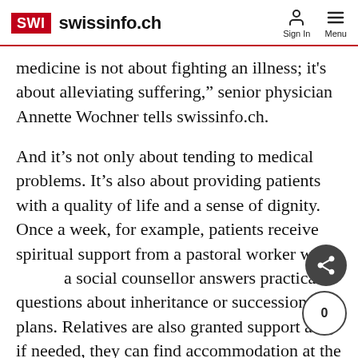SWI swissinfo.ch  Sign In  Menu
medicine is not about fighting an illness; it's about alleviating suffering,” senior physician Annette Wochner tells swissinfo.ch.
And it’s not only about tending to medical problems. It’s also about providing patients with a quality of life and a sense of dignity. Once a week, for example, patients receive spiritual support from a pastoral worker w a social counsellor answers practical questions about inheritance or succession plans. Relatives are also granted support and, if needed, they can find accommodation at the Swan House.